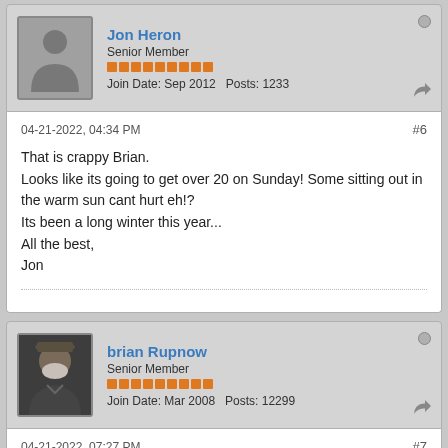Jon Heron
Senior Member
Join Date: Sep 2012   Posts: 1233
04-21-2022, 04:34 PM
#6
That is crappy Brian.
Looks like its going to get over 20 on Sunday! Some sitting out in the warm sun cant hurt eh!?
Its been a long winter this year...
All the best,
Jon
brian Rupnow
Senior Member
Join Date: Mar 2008   Posts: 12299
04-21-2022, 07:27 PM
#7
Jon---I've got two grandchildren coming over to rake leaves on Sunday.
I'm going to set and watch!!